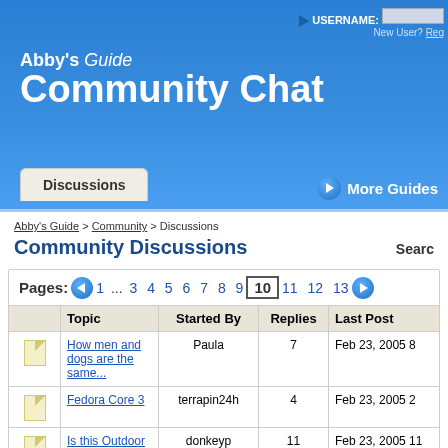Abby's Guide Community Chat
USERNAME: [input] New User? Reg...
Discussions
More Guides
Abby's Guide > Community > Discussions
Community Discussions
Pages: 1 ... 3 4 5 6 7 8 9 10 11 12 13
|  | Topic | Started By | Replies | Last Post |
| --- | --- | --- | --- | --- |
|  | How men and dogs are the same... | Paula | 7 | Feb 23, 2005 8 |
|  | Fedora Core 3 | terrapin24h | 4 | Feb 23, 2005 2 |
|  | Is this Outdoor Power Equipment forum or Dancing in the snow??? | donkeyp | 11 | Feb 23, 2005 11 |
|  | Good ole Boys | Cajunblu | 0 | Feb 23, 2005 3 |
|  | Mexican Jour/set... |  |  |  |